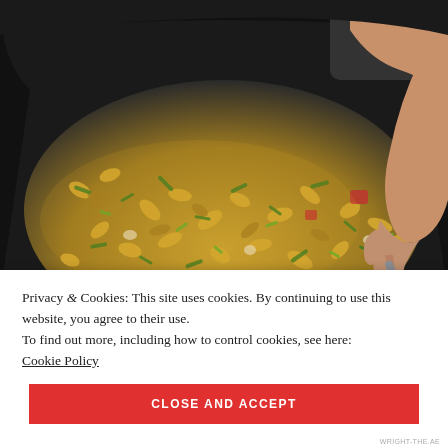[Figure (photo): A child's hand reaching into a large black wok or pan filled with macaroni pasta mixed with green onions, tomatoes, and other vegetables in a yellow/orange sauce.]
Privacy & Cookies: This site uses cookies. By continuing to use this website, you agree to their use.
To find out more, including how to control cookies, see here:
Cookie Policy
CLOSE AND ACCEPT